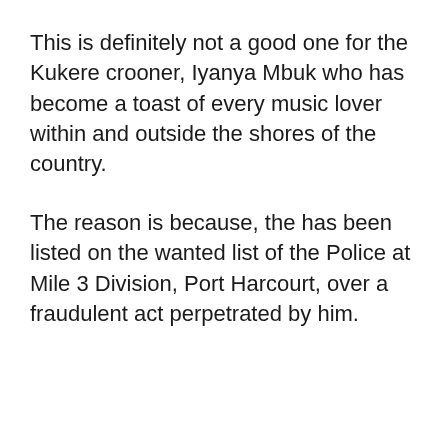This is definitely not a good one for the Kukere crooner, Iyanya Mbuk who has become a toast of every music lover within and outside the shores of the country.
The reason is because, the has been listed on the wanted list of the Police at Mile 3 Division, Port Harcourt, over a fraudulent act perpetrated by him.